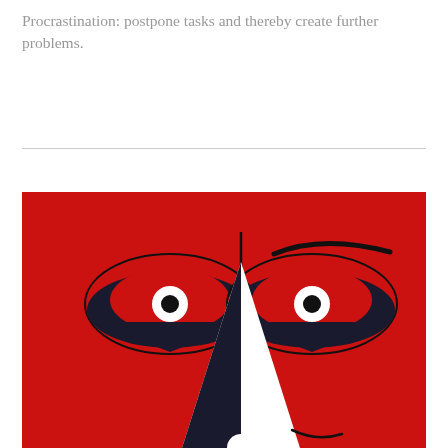Procrastination: postpone tasks and thereby create further problems.
[Figure (illustration): Stylized graphic illustration of a stern face on a red background. The face features two eyes within oval outlines with dark heavy lids and white irises with black pupils, a large white triangular nose with a dark shadow on one side, a small hint of a mouth at the bottom, and a black curved eyebrow above the right eye. The overall aesthetic is bold and graphic, reminiscent of mid-century illustration style.]